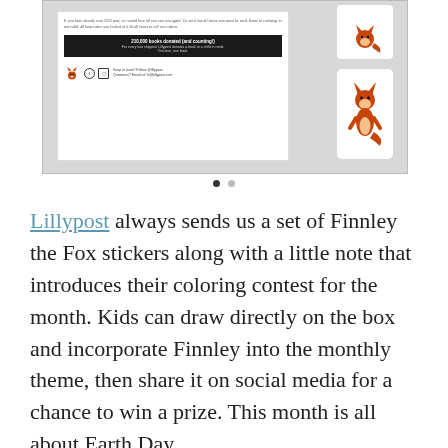[Figure (photo): Photo of a Lillypost insert card showing '210,000 books donated (and counting!)' banner in black, social media icons, and two Finnley the Fox sticker cards on the right side against a gray background.]
Lillypost always sends us a set of Finnley the Fox stickers along with a little note that introduces their coloring contest for the month. Kids can draw directly on the box and incorporate Finnley into the monthly theme, then share it on social media for a chance to win a prize. This month is all about Earth Day.